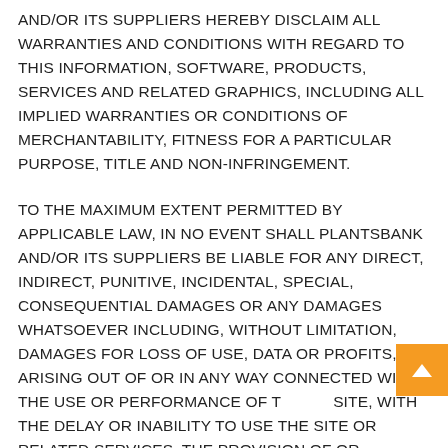AND/OR ITS SUPPLIERS HEREBY DISCLAIM ALL WARRANTIES AND CONDITIONS WITH REGARD TO THIS INFORMATION, SOFTWARE, PRODUCTS, SERVICES AND RELATED GRAPHICS, INCLUDING ALL IMPLIED WARRANTIES OR CONDITIONS OF MERCHANTABILITY, FITNESS FOR A PARTICULAR PURPOSE, TITLE AND NON-INFRINGEMENT.
TO THE MAXIMUM EXTENT PERMITTED BY APPLICABLE LAW, IN NO EVENT SHALL PLANTSBANK AND/OR ITS SUPPLIERS BE LIABLE FOR ANY DIRECT, INDIRECT, PUNITIVE, INCIDENTAL, SPECIAL, CONSEQUENTIAL DAMAGES OR ANY DAMAGES WHATSOEVER INCLUDING, WITHOUT LIMITATION, DAMAGES FOR LOSS OF USE, DATA OR PROFITS, ARISING OUT OF OR IN ANY WAY CONNECTED WITH THE USE OR PERFORMANCE OF THE SITE, WITH THE DELAY OR INABILITY TO USE THE SITE OR RELATED SERVICES, THE PROVISION OF OR